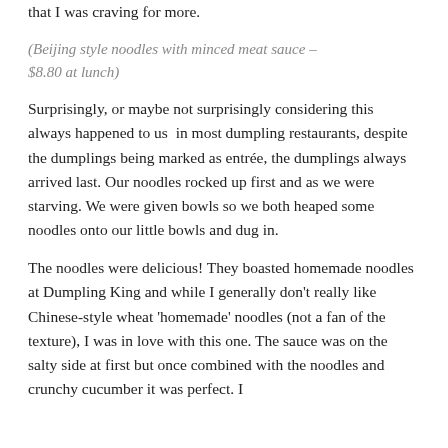that I was craving for more.
(Beijing style noodles with minced meat sauce – $8.80 at lunch)
Surprisingly, or maybe not surprisingly considering this always happened to us  in most dumpling restaurants, despite the dumplings being marked as entrée, the dumplings always arrived last. Our noodles rocked up first and as we were starving. We were given bowls so we both heaped some noodles onto our little bowls and dug in.
The noodles were delicious! They boasted homemade noodles at Dumpling King and while I generally don't really like Chinese-style wheat 'homemade' noodles (not a fan of the texture), I was in love with this one. The sauce was on the salty side at first but once combined with the noodles and crunchy cucumber it was perfect. I